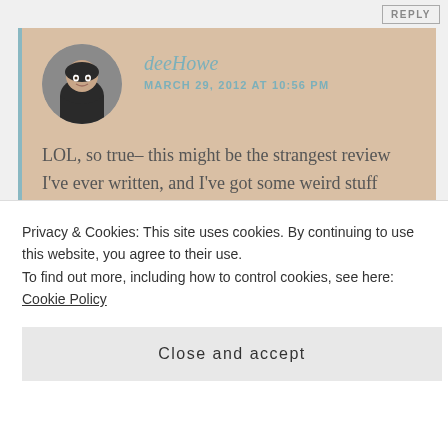REPLY
deeHowe
MARCH 29, 2012 AT 10:56 PM
LOL, so true- this might be the strangest review I’ve ever written, and I’ve got some weird stuff under my belt 😉 I’m looking forward to hearing what you think of it!
REPLY
Olfactoria
Privacy & Cookies: This site uses cookies. By continuing to use this website, you agree to their use.
To find out more, including how to control cookies, see here: Cookie Policy
Close and accept
endears me more to you than Opus 71.
REPLY